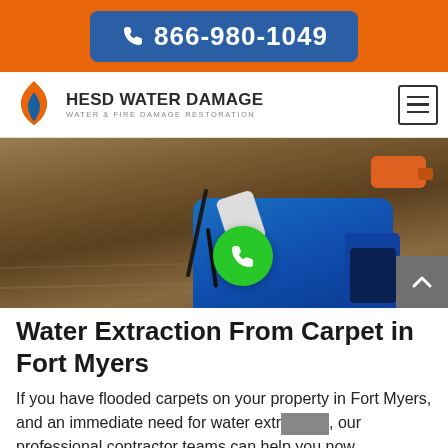☎ 866-980-1049
[Figure (logo): HESD Water Damage logo with flame icon and text 'WATER & FIRE DAMAGE RESTORATION']
[Figure (photo): Photo of water damage restoration equipment including blue air mover/dehumidifier and orange power tool on a wet floor, with a green phone call button overlay]
Water Extraction From Carpet in Fort Myers
If you have flooded carpets on your property in Fort Myers, and an immediate need for water extraction, our professional contractor teams can help you now.